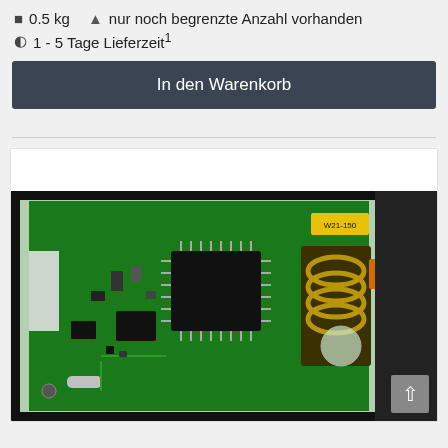0.5 kg    ⚠ nur noch begrenzte Anzahl vorhanden
1 - 5 Tage Lieferzeit¹
In den Warenkorb
[Figure (photo): Photograph of an electronic circuit board (PCB) with green board, IC chips, transformer coil, and various components, shown inside a black enclosure. A yellow label is visible on a component in the upper right.]